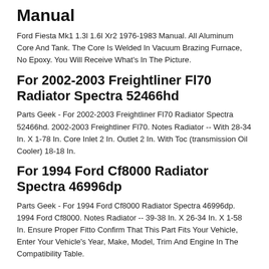Manual
Ford Fiesta Mk1 1.3l 1.6l Xr2 1976-1983 Manual. All Aluminum Core And Tank. The Core Is Welded In Vacuum Brazing Furnace, No Epoxy. You Will Receive What's In The Picture.
For 2002-2003 Freightliner Fl70 Radiator Spectra 52466hd
Parts Geek - For 2002-2003 Freightliner Fl70 Radiator Spectra 52466hd. 2002-2003 Freightliner Fl70. Notes Radiator -- With 28-34 In. X 1-78 In. Core Inlet 2 In. Outlet 2 In. With Toc (transmission Oil Cooler) 18-18 In.
For 1994 Ford Cf8000 Radiator Spectra 46996dp
Parts Geek - For 1994 Ford Cf8000 Radiator Spectra 46996dp. 1994 Ford Cf8000. Notes Radiator -- 39-38 In. X 26-34 In. X 1-58 In. Ensure Proper Fitto Confirm That This Part Fits Your Vehicle, Enter Your Vehicle's Year, Make, Model, Trim And Engine In The Compatibility Table.
Case J4343213 Radiator. Part Number j4343213. Manufacturer case.